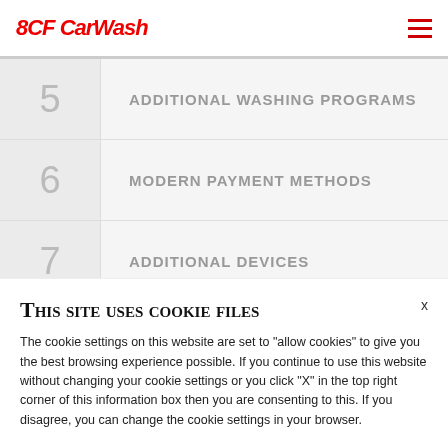8CF CarWash
5   ADDITIONAL WASHING PROGRAMS
6   MODERN PAYMENT METHODS
7   ADDITIONAL DEVICES
8   CAR WASH ADD-ONS
This site uses cookie files
The cookie settings on this website are set to "allow cookies" to give you the best browsing experience possible. If you continue to use this website without changing your cookie settings or you click "X" in the top right corner of this information box then you are consenting to this. If you disagree, you can change the cookie settings in your browser.